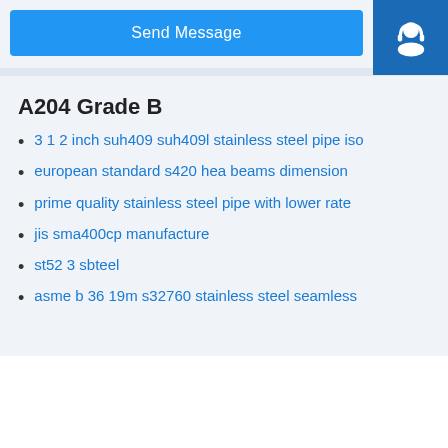Send Message
[Figure (illustration): Blue customer support icon (headset with person silhouette) on dark blue square background]
[Figure (illustration): Blue phone/call icon on dark blue square background]
[Figure (illustration): Skype icon (S logo) on dark blue square background]
A204 Grade B
3 1 2 inch suh409 suh409l stainless steel pipe iso
european standard s420 hea beams dimension
prime quality stainless steel pipe with lower rate
jis sma400cp manufacture
st52 3 sbteel
asme b 36 19m s32760 stainless steel seamless